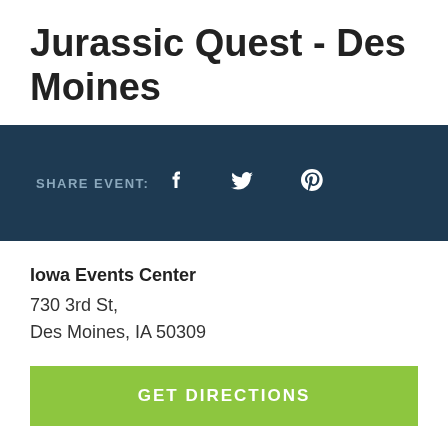Jurassic Quest - Des Moines
SHARE EVENT:   f   🐦   ©
Iowa Events Center
730 3rd St,
Des Moines, IA 50309
GET DIRECTIONS
JURASSIC QUEST IS ROARING INTO A CITY NEAR YOU!
Jurassic Quest is the world's largest, most popular dino